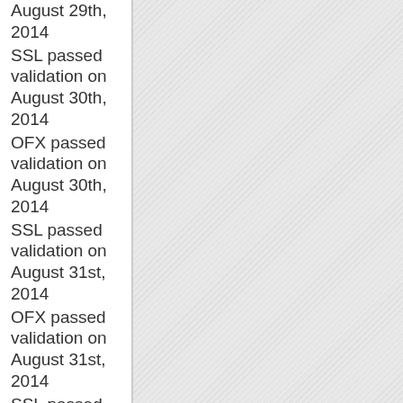August 29th, 2014
SSL passed validation on August 30th, 2014
OFX passed validation on August 30th, 2014
SSL passed validation on August 31st, 2014
OFX passed validation on August 31st, 2014
SSL passed